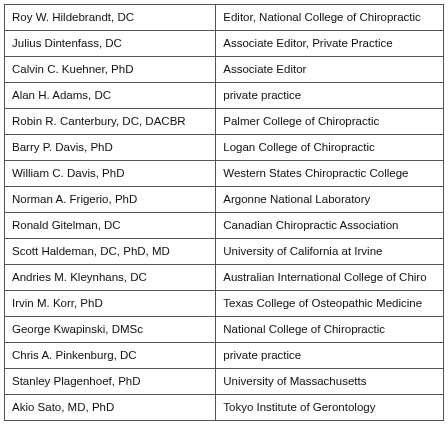| Name | Affiliation |
| --- | --- |
| Roy W. Hildebrandt, DC | Editor, National College of Chiropractic |
| Julius Dintenfass, DC | Associate Editor, Private Practice |
| Calvin C. Kuehner, PhD | Associate Editor |
| Alan H. Adams, DC | private practice |
| Robin R. Canterbury, DC, DACBR | Palmer College of Chiropractic |
| Barry P. Davis, PhD | Logan College of Chiropractic |
| William C. Davis, PhD | Western States Chiropractic College |
| Norman A. Frigerio, PhD | Argonne National Laboratory |
| Ronald Gitelman, DC | Canadian Chiropractic Association |
| Scott Haldeman, DC, PhD, MD | University of California at Irvine |
| Andries M. Kleynhans, DC | Australian International College of Chiropractic |
| Irvin M. Korr, PhD | Texas College of Osteopathic Medicine |
| George Kwapinski, DMSc | National College of Chiropractic |
| Chris A. Pinkenburg, DC | private practice |
| Stanley Plagenhoef, PhD | University of Massachusetts |
| Akio Sato, MD, PhD | Tokyo Institute of Gerontology |